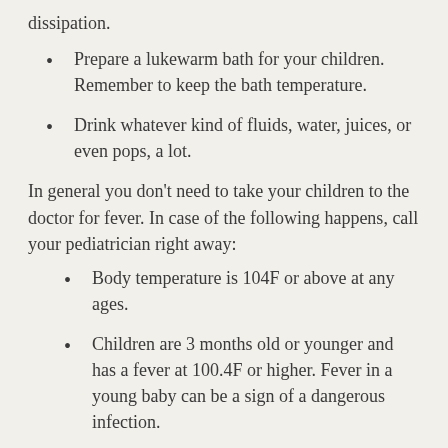dissipation.
Prepare a lukewarm bath for your children. Remember to keep the bath temperature.
Drink whatever kind of fluids, water, juices, or even pops, a lot.
In general you don't need to take your children to the doctor for fever. In case of the following happens, call your pediatrician right away:
Body temperature is 104F or above at any ages.
Children are 3 months old or younger and has a fever at 100.4F or higher. Fever in a young baby can be a sign of a dangerous infection.
Fever lasts for more than 72 hrs (more than 24hrs for age under 2).